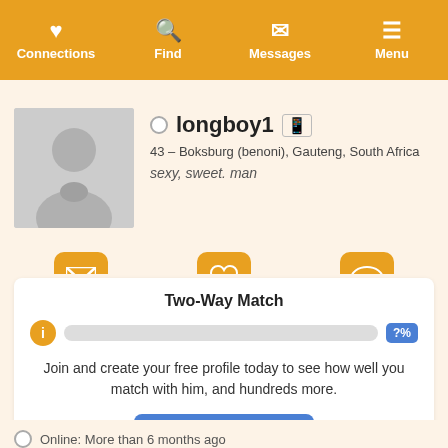Connections  Find  Messages  Menu
[Figure (illustration): Generic male silhouette avatar placeholder in grey square]
longboy1
43 – Boksburg (benoni), Gauteng, South Africa
sexy, sweet. man
Message  Add to Favourites  More
Two-Way Match
Join and create your free profile today to see how well you match with him, and hundreds more.
Join now
Online: More than 6 months ago